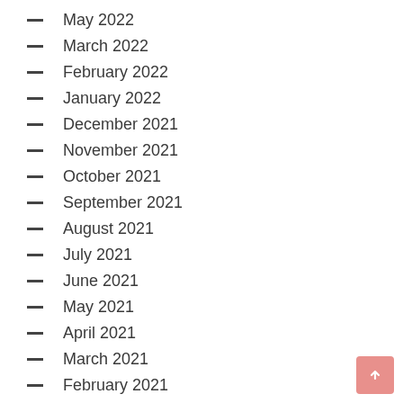May 2022
March 2022
February 2022
January 2022
December 2021
November 2021
October 2021
September 2021
August 2021
July 2021
June 2021
May 2021
April 2021
March 2021
February 2021
January 2021